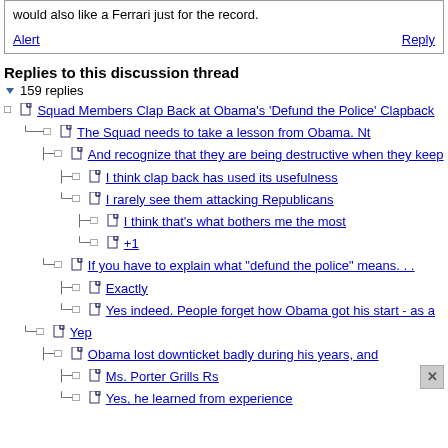would also like a Ferrari just for the record.
Alert   Reply
Replies to this discussion thread
159 replies
Squad Members Clap Back at Obama's 'Defund the Police' Clapback
The Squad needs to take a lesson from Obama. Nt
And recognize that they are being destructive when they keep
I think clap back has used its usefulness
I rarely see them attacking Republicans
I think that's what bothers me the most
+1
If you have to explain what "defund the police" means. . .
Exactly
Yes indeed. People forget how Obama got his start - as a
Yep
Obama lost downticket badly during his years, and
Ms. Porter Grills Rs
Yes, he learned from experience